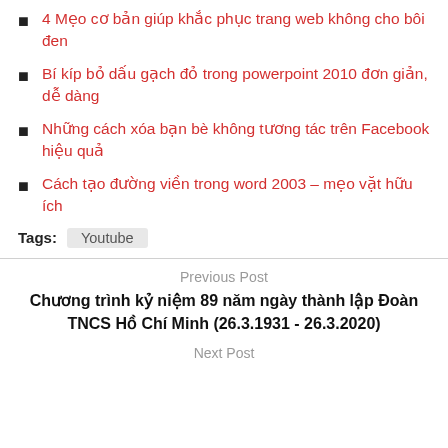4 Mẹo cơ bản giúp khắc phục trang web không cho bôi đen
Bí kíp bỏ dấu gạch đỏ trong powerpoint 2010 đơn giản, dễ dàng
Những cách xóa bạn bè không tương tác trên Facebook hiệu quả
Cách tạo đường viền trong word 2003 – mẹo vặt hữu ích
Tags: Youtube
Previous Post
Chương trình kỷ niệm 89 năm ngày thành lập Đoàn TNCS Hồ Chí Minh (26.3.1931 - 26.3.2020)
Next Post